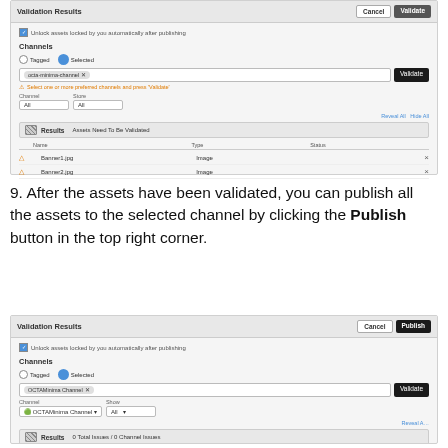[Figure (screenshot): Screenshot of Validation Results panel showing Channels section with 'Selected' radio button chosen, a channel input field with a tag, warning message, Channel/Store filter dropdowns showing 'All', Reveal All / Hide All links, Results bar showing 'Assets Need To Be Validated', table with Name/Type/Status columns, and two rows: Banner1.jpg (Image) and Banner2.jpg (Image) each with an X mark.]
9. After the assets have been validated, you can publish all the assets to the selected channel by clicking the Publish button in the top right corner.
[Figure (screenshot): Screenshot of Validation Results panel with Cancel and Publish buttons. Channels section shows 'Selected' radio chosen, OCTAMinima Channel tag in input, Channel filter showing 'OCTAMinima Channel' dropdown and Show 'All' dropdown, Reveal All link, Results bar showing '0 Total Issues / 0 Channel Issues', table with Name/Type/Status columns partially visible.]